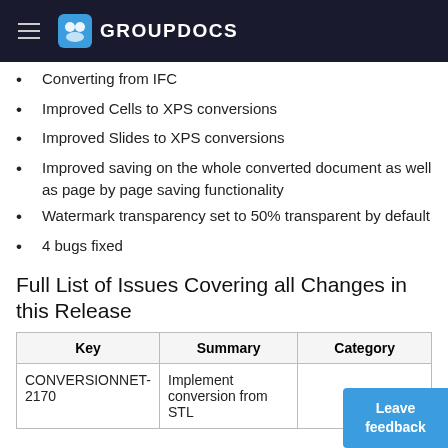GROUPDOCS
Converting from IFC
Improved Cells to XPS conversions
Improved Slides to XPS conversions
Improved saving on the whole converted document as well as page by page saving functionality
Watermark transparency set to 50% transparent by default
4 bugs fixed
Full List of Issues Covering all Changes in this Release
| Key | Summary | Category |
| --- | --- | --- |
| CONVERSIONNET-2170 | Implement conversion from STL |  |